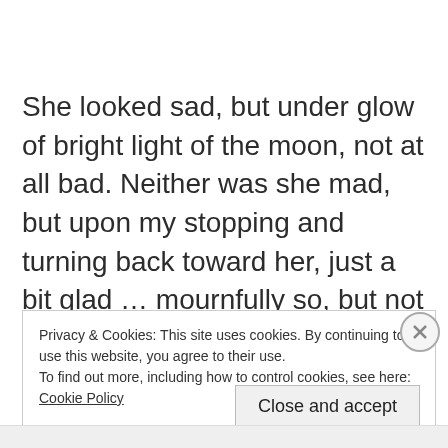She looked sad, but under glow of bright light of the moon, not at all bad. Neither was she mad, but upon my stopping and turning back toward her, just a bit glad … mournfully so, but not scornfully as she had been when we'd met before and she'd set about to emasculate me!
Privacy & Cookies: This site uses cookies. By continuing to use this website, you agree to their use.
To find out more, including how to control cookies, see here: Cookie Policy
Close and accept